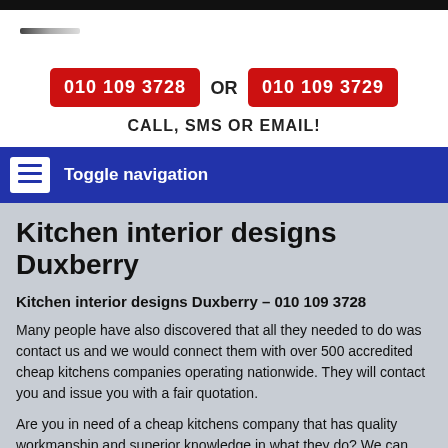[Figure (logo): Small logo or decorative line element in top-left header area]
010 109 3728 OR 010 109 3729
CALL, SMS OR EMAIL!
Toggle navigation
Kitchen interior designs Duxberry
Kitchen interior designs Duxberry – 010 109 3728
Many people have also discovered that all they needed to do was contact us and we would connect them with over 500 accredited cheap kitchens companies operating nationwide. They will contact you and issue you with a fair quotation.
Are you in need of a cheap kitchens company that has quality workmanship and superior knowledge in what they do? We can help you